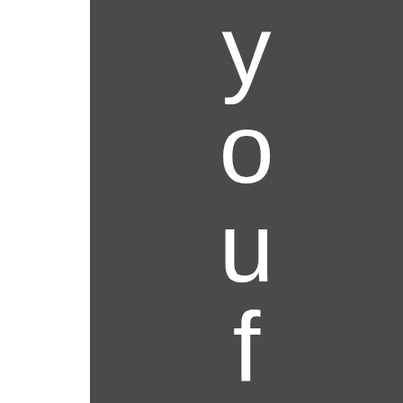[Figure (other): Dark gray panel with vertical white text spelling 'youfoc' (partially visible, 'us' cut off at bottom), one letter per line, on a dark charcoal background. Left portion of page is white.]